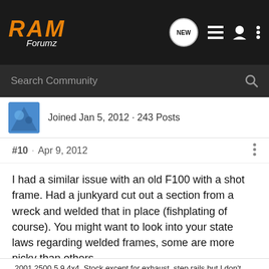RAM Forumz
Search Community
Joined Jan 5, 2012 · 243 Posts
#10 · Apr 9, 2012
I had a similar issue with an old F100 with a shot frame. Had a junkyard cut out a section from a wreck and welded that in place (fishplating of course). You might want to look into your state laws regarding welded frames, some are more picky than others.
2001 2500 5.9 4x4. Stock except for exhaust, step rails but I don't care, I love my beast
[Figure (other): Advertisement banner with geometric hexagon tile pattern]